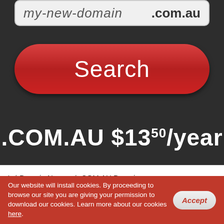[Figure (screenshot): Domain name search input bar showing 'my-new-domain' placeholder text and '.com.au' TLD on dark background]
[Figure (screenshot): Red rounded Search button on dark background]
.COM.AU $13.50/year
🏠 / Domain Names / .COM.AU Domains
.COM.AU Pricing
TLD
Our website will install cookies. By proceeding to browse our site you are giving your permission to download our cookies. Learn more about our cookies here.